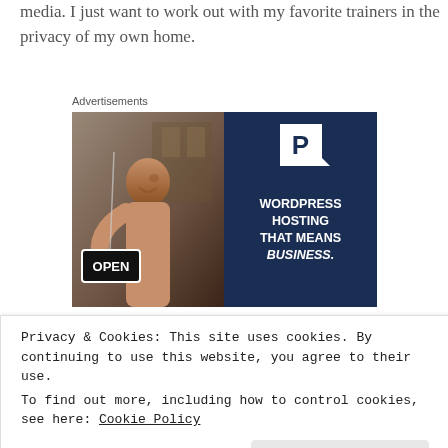media. I just want to work out with my favorite trainers in the privacy of my own home.
Advertisements
[Figure (illustration): WordPress hosting advertisement banner showing a smiling woman holding an OPEN sign on the left (photo background), and dark navy right side with a 'P' logo and text: WORDPRESS HOSTING THAT MEANS BUSINESS.]
Privacy & Cookies: This site uses cookies. By continuing to use this website, you agree to their use.
To find out more, including how to control cookies, see here: Cookie Policy
Close and accept
on this blog—and I still have tons of workouts to